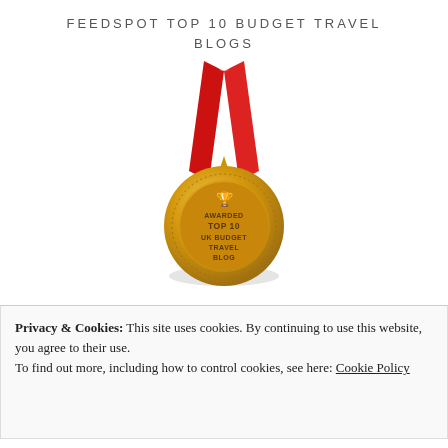FEEDSPOT TOP 10 BUDGET TRAVEL BLOGS
[Figure (illustration): A gold award medal with red ribbon. Medal reads: AWARDED TOP 10 UK BUDGET TRAVEL BLOG, with a trophy icon at top.]
Privacy & Cookies: This site uses cookies. By continuing to use this website, you agree to their use.
To find out more, including how to control cookies, see here: Cookie Policy
Close and accept
TRIPS 100 UK TRAVEL BLOGS